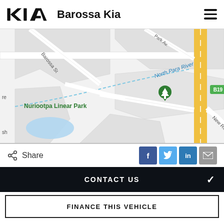Barossa Kia
[Figure (map): Street map showing Nuriootpa Linear Park area with North Para River, Barossa St, Park Ave, New Rd, and route B19 marked. A yellow road runs vertically through the center. A green location pin marks Nuriootpa Linear Park.]
Share
CONTACT US
FINANCE THIS VEHICLE